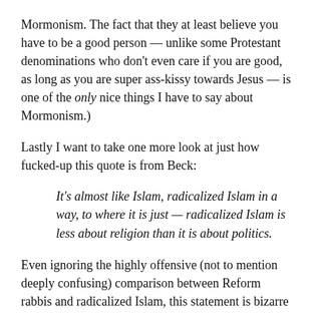Mormonism. The fact that they at least believe you have to be a good person — unlike some Protestant denominations who don't even care if you are good, as long as you are super ass-kissy towards Jesus — is one of the only nice things I have to say about Mormonism.)
Lastly I want to take one more look at just how fucked-up this quote is from Beck:
It's almost like Islam, radicalized Islam in a way, to where it is just — radicalized Islam is less about religion than it is about politics.
Even ignoring the highly offensive (not to mention deeply confusing) comparison between Reform rabbis and radicalized Islam, this statement is bizarre in and of itself. The problem with radicalized Islam is that it's all about religion